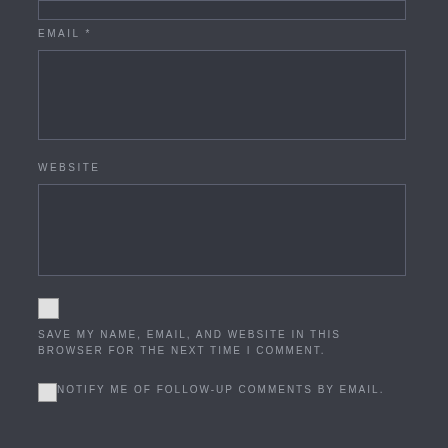[Figure (other): Partial input field box at top of page (cropped)]
EMAIL *
[Figure (other): Email input text field, empty, dark background]
WEBSITE
[Figure (other): Website input text field, empty, dark background]
SAVE MY NAME, EMAIL, AND WEBSITE IN THIS BROWSER FOR THE NEXT TIME I COMMENT.
NOTIFY ME OF FOLLOW-UP COMMENTS BY EMAIL.